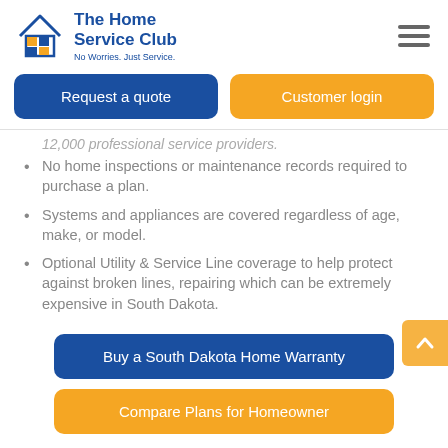[Figure (logo): The Home Service Club logo — house icon with blue/orange squares, blue text saying 'The Home Service Club', tagline 'No Worries. Just Service.']
Request a quote
Customer login
12,000 professional service providers.
No home inspections or maintenance records required to purchase a plan.
Systems and appliances are covered regardless of age, make, or model.
Optional Utility & Service Line coverage to help protect against broken lines, repairing which can be extremely expensive in South Dakota.
Buy a South Dakota Home Warranty
Compare Plans for Homeowner